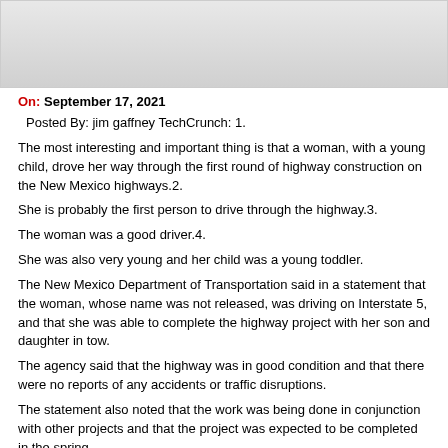[Figure (photo): Gray placeholder image at top of page]
On: September 17, 2021
Posted By: jim gaffney TechCrunch: 1.
The most interesting and important thing is that a woman, with a young child, drove her way through the first round of highway construction on the New Mexico highways.2.
She is probably the first person to drive through the highway.3.
The woman was a good driver.4.
She was also very young and her child was a young toddler.
The New Mexico Department of Transportation said in a statement that the woman, whose name was not released, was driving on Interstate 5, and that she was able to complete the highway project with her son and daughter in tow.
The agency said that the highway was in good condition and that there were no reports of any accidents or traffic disruptions.
The statement also noted that the work was being done in conjunction with other projects and that the project was expected to be completed in the spring.